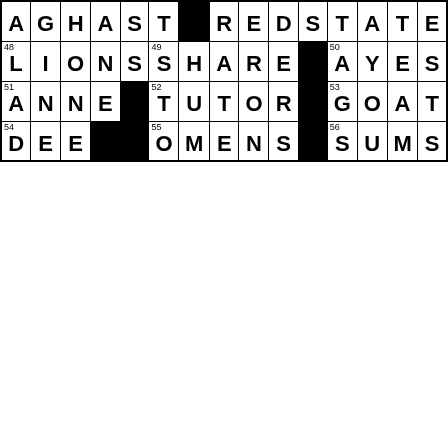[Figure (other): Partial crossword puzzle grid showing rows with answers: AGHAST, REDSTATE (row 1), LIONS (48), SHARE (49), AYES (50) (row 2), ANNE (51), TUTOR (52), GOAT (53) (row 3), DEE (54), OMENS (55), SUMS (56) (row 4). Black squares indicate blocked cells.]